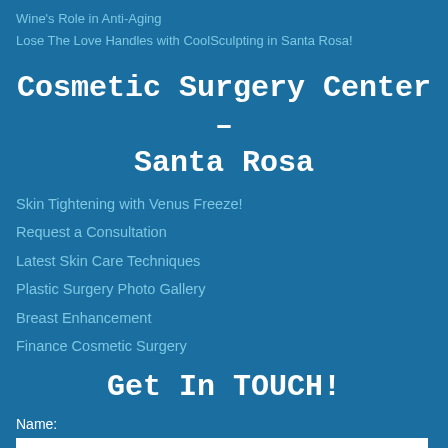Wine's Role in Anti-Aging
Lose The Love Handles with CoolSculpting in Santa Rosa!
Cosmetic Surgery Center – Santa Rosa
Skin Tightening with Venus Freeze!
Request a Consultation
Latest Skin Care Techniques
Plastic Surgery Photo Gallery
Breast Enhancement
Finance Cosmetic Surgery
Get In TOUCH!
Name: